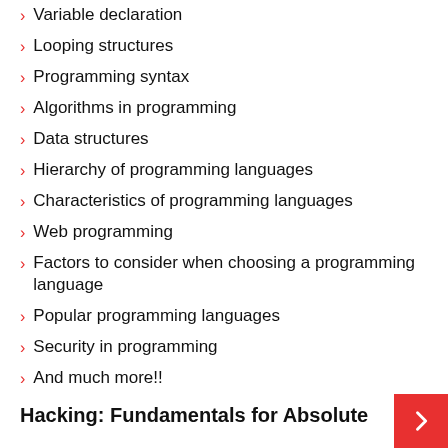Variable declaration
Looping structures
Programming syntax
Algorithms in programming
Data structures
Hierarchy of programming languages
Characteristics of programming languages
Web programming
Factors to consider when choosing a programming language
Popular programming languages
Security in programming
And much more!!
Hacking: Fundamentals for Absolute